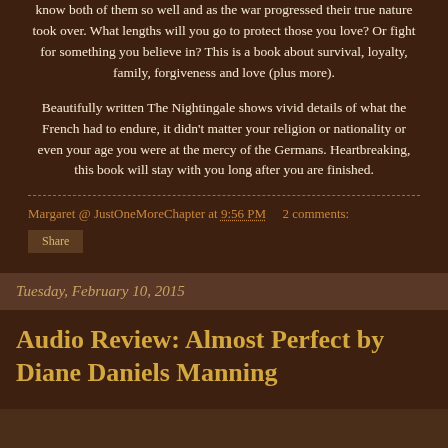know both of them so well and as the war progressed their true nature took over. What lengths will you go to protect those you love? Or fight for something you believe in? This is a book about survival, loyalty, family, forgiveness and love (plus more).
Beautifully written The Nightingale shows vivid details of what the French had to endure, it didn't matter your religion or nationality or even your age you were at the mercy of the Germans. Heartbreaking, this book will stay with you long after you are finished.
Margaret @ JustOneMoreChapter at 9:56 PM    2 comments:
Share
Tuesday, February 10, 2015
Audio Review: Almost Perfect by Diane Daniels Manning